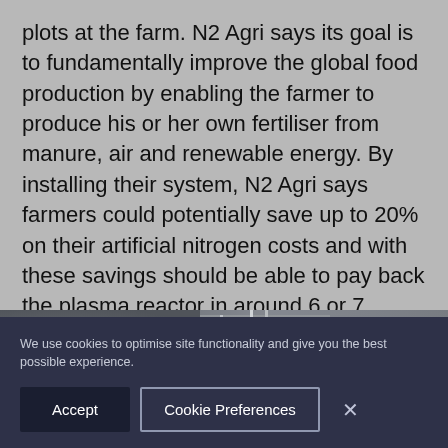plots at the farm. N2 Agri says its goal is to fundamentally improve the global food production by enabling the farmer to produce his or her own fertiliser from manure, air and renewable energy. By installing their system, N2 Agri says farmers could potentially save up to 20% on their artificial nitrogen costs and with these savings should be able to pay back the plasma reactor in around 6 or 7 years.
[Figure (photo): Industrial/agricultural facility exterior showing metal structures, scaffolding, and equipment]
We use cookies to optimise site functionality and give you the best possible experience.